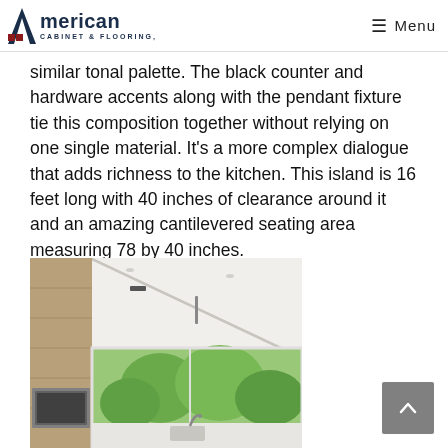American Cabinet & Flooring — Menu
similar tonal palette. The black counter and hardware accents along with the pendant fixture tie this composition together without relying on one single material. It's a more complex dialogue that adds richness to the kitchen. This island is 16 feet long with 40 inches of clearance around it and an amazing cantilevered seating area measuring 78 by 40 inches.
[Figure (photo): Interior kitchen photo showing white ceiling with recessed lighting and a diagonal architectural line, wood-paneled cabinets on the left, large window with garden view, stainless steel sink and appliances visible.]